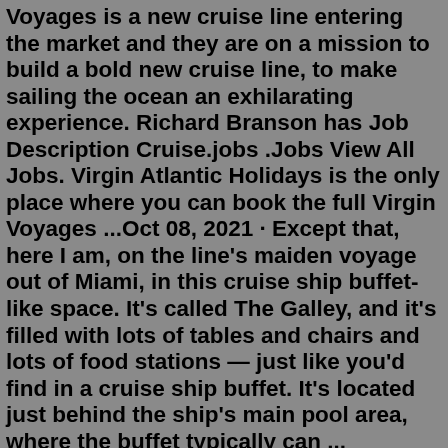Voyages is a new cruise line entering the market and they are on a mission to build a bold new cruise line, to make sailing the ocean an exhilarating experience. Richard Branson has Job Description Cruise.jobs .Jobs View All Jobs. Virgin Atlantic Holidays is the only place where you can book the full Virgin Voyages ...Oct 08, 2021 · Except that, here I am, on the line's maiden voyage out of Miami, in this cruise ship buffet-like space. It's called The Galley, and it's filled with lots of tables and chairs and lots of food stations — just like you'd find in a cruise ship buffet. It's located just behind the ship's main pool area, where the buffet typically can ... Voyages Indigenous Tourism Australia acknowledges the traditional custodians of Country throughout Australia and their continuing connection to land, sea and community. We pay our respects to them, their culture and to the Elders past, present and future.SunwingDiscover Virgin Plus's advantages: value-packed plans with tons of data, Member Benefits, hot phones, and the best customer service in Canada. ... GET A $50 VISA*